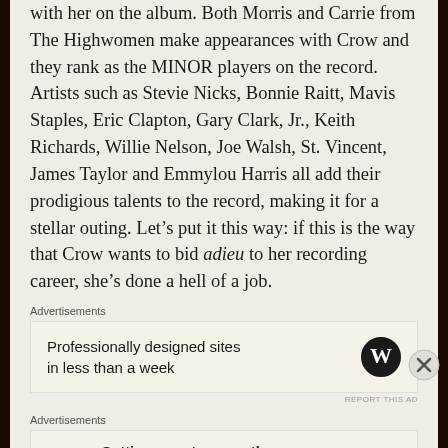with her on the album. Both Morris and Carrie from The Highwomen make appearances with Crow and they rank as the MINOR players on the record. Artists such as Stevie Nicks, Bonnie Raitt, Mavis Staples, Eric Clapton, Gary Clark, Jr., Keith Richards, Willie Nelson, Joe Walsh, St. Vincent, James Taylor and Emmylou Harris all add their prodigious talents to the record, making it for a stellar outing. Let's put it this way: if this is the way that Crow wants to bid adieu to her recording career, she's done a hell of a job.
Advertisements
[Figure (other): Advertisement box with WordPress logo: 'Professionally designed sites in less than a week']
REPORT THIS AD
Advertisements
[Figure (other): Advertisement box with P2 logo: 'Getting your team on the same page is easy. And free.']
REPORT THIS AD